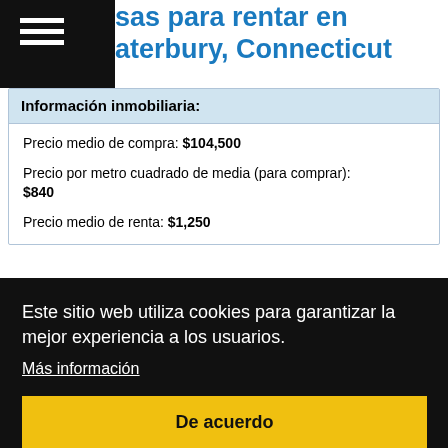sas para rentar en aterbury, Connecticut
| Información inmobiliaria: |
| --- |
| Precio medio de compra: $104,500 |
| Precio por metro cuadrado de media (para comprar): $840 |
| Precio medio de renta: $1,250 |
Este sitio web utiliza cookies para garantizar la mejor experiencia a los usuarios.
Más información
De acuerdo
andando a los sitios; casi nadie lo hace.